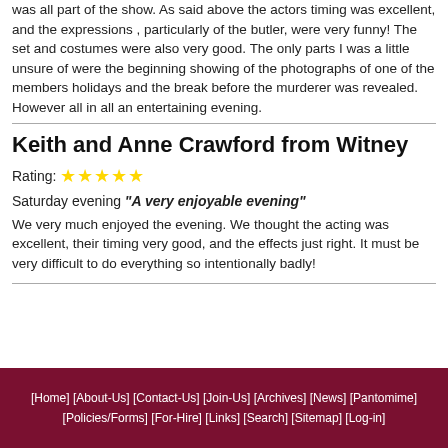was all part of the show. As said above the actors timing was excellent, and the expressions , particularly of the butler, were very funny! The set and costumes were also very good. The only parts I was a little unsure of were the beginning showing of the photographs of one of the members holidays and the break before the murderer was revealed. However all in all an entertaining evening.
Keith and Anne Crawford from Witney
Rating: ★★★★★
Saturday evening "A very enjoyable evening"
We very much enjoyed the evening. We thought the acting was excellent, their timing very good, and the effects just right. It must be very difficult to do everything so intentionally badly!
[Home] [About-Us] [Contact-Us] [Join-Us] [Archives] [News] [Pantomime] [Policies/Forms] [For-Hire] [Links] [Search] [Sitemap] [Log-in]